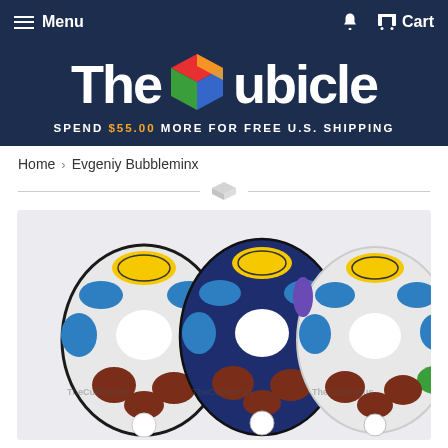Menu  Cart
[Figure (logo): The Cubicle logo with Rubik's cube graphic between 'The' and 'Cubicle' text, on dark navy background. Below: SPEND $55.00 MORE FOR FREE U.S. SHIPPING]
Home › Evgeniy Bubbleminx
[Figure (photo): Three Evgeniy Bubbleminx puzzles side by side: left one with white/black stickers, middle with blue/black stickers, right with white/stickerless colorful. All are dodecahedron-shaped twisty puzzles with bubble-shaped face pieces in yellow, blue, dark red, white, green colors. Watermark: TheCubicle.us]